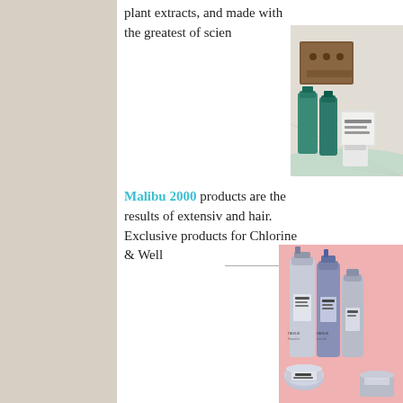plant extracts, and made with the greatest of scien
[Figure (photo): Product bottles and packaging displayed on a light surface, including green/teal bottles and various hair product containers with brown box packaging]
Malibu 2000 products are the results of extensiv and hair. Exclusive products for Chlorine & Well
[Figure (photo): Nexus hair care product line displayed against a pink background, featuring multiple silver/grey bottles and containers]